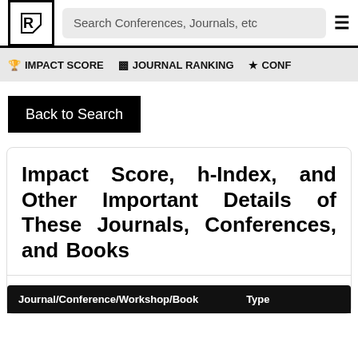Search Conferences, Journals, etc
🏆 IMPACT SCORE   📊 JOURNAL RANKING   ★ CONF
Back to Search
Impact Score, h-Index, and Other Important Details of These Journals, Conferences, and Books
| Journal/Conference/Workshop/Book | Type |
| --- | --- |